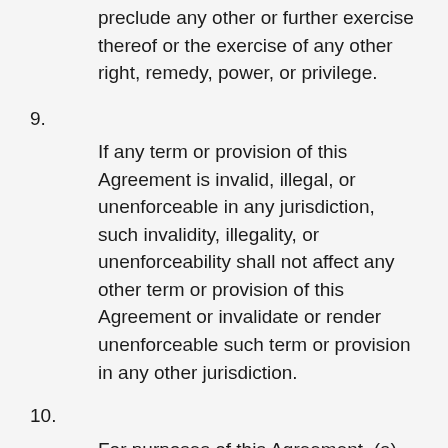preclude any other or further exercise thereof or the exercise of any other right, remedy, power, or privilege.
9.
If any term or provision of this Agreement is invalid, illegal, or unenforceable in any jurisdiction, such invalidity, illegality, or unenforceability shall not affect any other term or provision of this Agreement or invalidate or render unenforceable such term or provision in any other jurisdiction.
10.
For purposes of this Agreement, (a) the words “include,” “includes,”